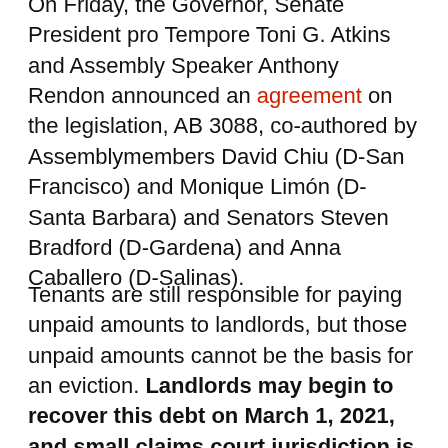On Friday, the Governor, Senate President pro Tempore Toni G. Atkins and Assembly Speaker Anthony Rendon announced an agreement on the legislation, AB 3088, co-authored by Assemblymembers David Chiu (D-San Francisco) and Monique Limón (D-Santa Barbara) and Senators Steven Bradford (D-Gardena) and Anna Caballero (D-Salinas).
Tenants are still responsible for paying unpaid amounts to landlords, but those unpaid amounts cannot be the basis for an eviction. Landlords may begin to recover this debt on March 1, 2021, and small claims court jurisdiction is temporarily expanded to allow landlords to recover these amounts. Landlords who do not follow the court evictions process will face